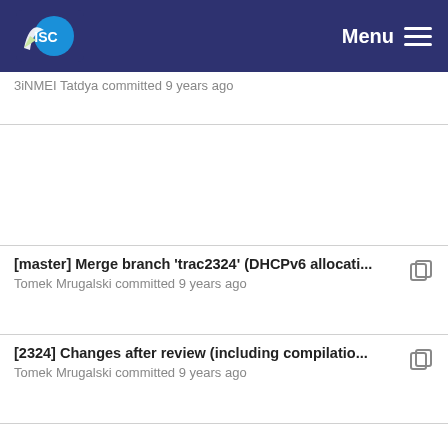ISC Menu
3iNMEI Tatdya committed 9 years ago
[master] Merge branch 'trac2324' (DHCPv6 allocati... Tomek Mrugalski committed 9 years ago
[2324] Changes after review (including compilatio... Tomek Mrugalski committed 9 years ago
[master] Merge branch 'trac2324' (DHCPv6 allocati... Tomek Mrugalski committed 9 years ago
[master] changelog entry for #2211 JiNMELT... committed 9...